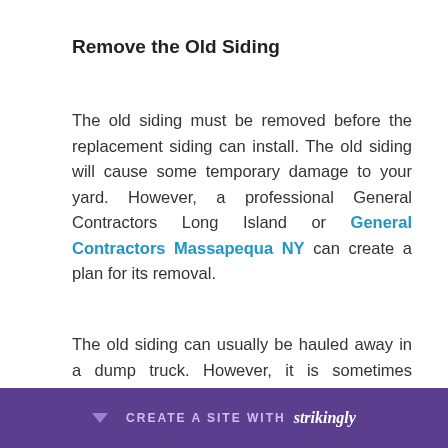Remove the Old Siding
The old siding must be removed before the replacement siding can install. The old siding will cause some temporary damage to your yard. However, a professional General Contractors Long Island or General Contractors Massapequa NY can create a plan for its removal.
The old siding can usually be hauled away in a dump truck. However, it is sometimes possible to le... until the j... e the
[Figure (other): Strikingly website builder promotional banner at page bottom, purple background with 'CREATE A SITE WITH strikingly' text]